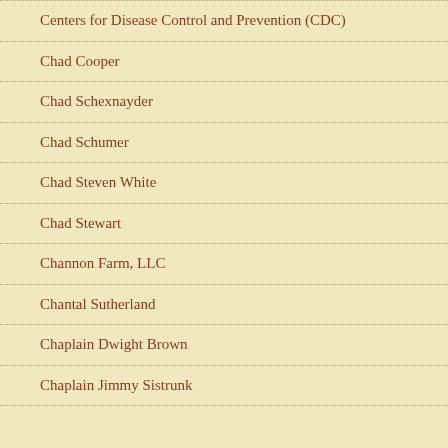Centers for Disease Control and Prevention (CDC)
Chad Cooper
Chad Schexnayder
Chad Schumer
Chad Steven White
Chad Stewart
Channon Farm, LLC
Chantal Sutherland
Chaplain Dwight Brown
Chaplain Jimmy Sistrunk